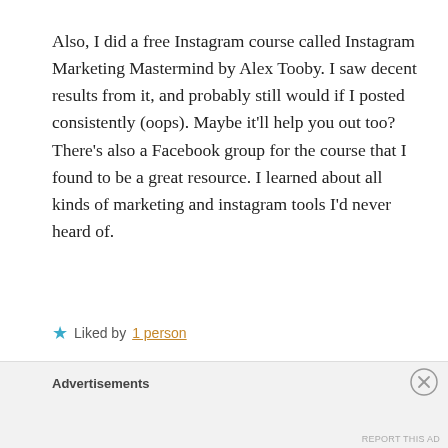Also, I did a free Instagram course called Instagram Marketing Mastermind by Alex Tooby. I saw decent results from it, and probably still would if I posted consistently (oops). Maybe it'll help you out too? There's also a Facebook group for the course that I found to be a great resource. I learned about all kinds of marketing and instagram tools I'd never heard of.
★ Liked by 1 person
REPLY
Advertisements